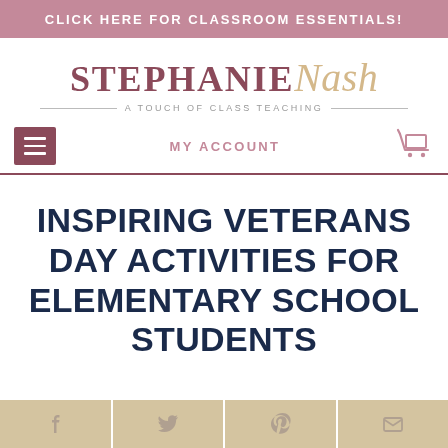CLICK HERE FOR CLASSROOM ESSENTIALS!
[Figure (logo): Stephanie Nash - A Touch of Class Teaching logo with stylized serif text]
MY ACCOUNT
INSPIRING VETERANS DAY ACTIVITIES FOR ELEMENTARY SCHOOL STUDENTS
[Figure (infographic): Social share buttons for Facebook, Twitter, Pinterest, and Email]